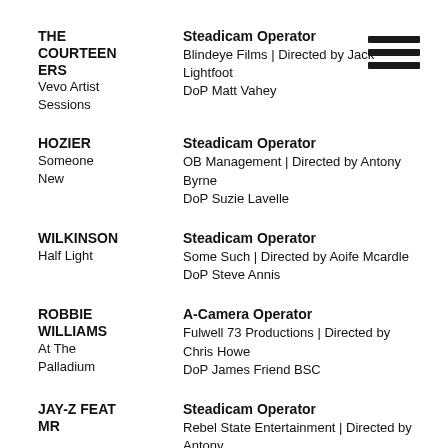THE COURTEENERS
Vevo Artist Sessions | Steadicam Operator | Blindeye Films | Directed by Jack Lightfoot | DoP Matt Vahey
HOZIER
Someone New | Steadicam Operator | OB Management | Directed by Antony Byrne | DoP Suzie Lavelle
WILKINSON
Half Light | Steadicam Operator | Some Such | Directed by Aoife Mcardle | DoP Steve Annis
ROBBIE WILLIAMS
At The Palladium | A-Camera Operator | Fulwell 73 Productions | Directed by Chris Howe | DoP James Friend BSC
JAY-Z FEAT MR | Steadicam Operator | Rebel State Entertainment | Directed by Antony